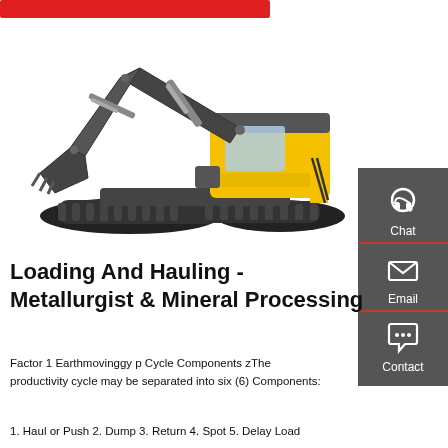[Figure (photo): Hyundai excavator/crawler on white background with yellow cab and dark grey boom and bucket]
[Figure (infographic): Sidebar with three contact icons: Chat (headset), Email (envelope), Contact (speech bubble with dots), on dark grey background with red dividers]
Loading And Hauling - Metallurgist & Mineral Processing
Factor 1 Earthmovinggy p Cycle Components zThe productivity cycle may be separated into six (6) Components:
1. Haul or Push 2. Dump 3. Return 4. Spot 5. Delay Load